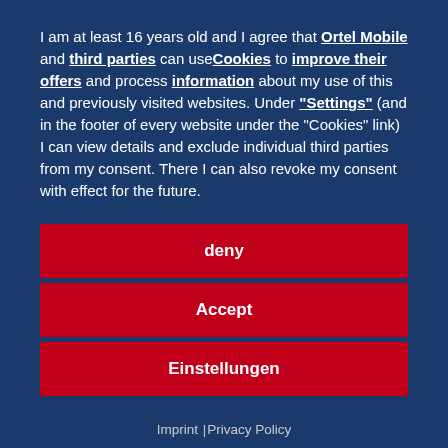I am at least 16 years old and I agree that Ortel Mobile and third parties can use Cookies to improve their offers and process information about my use of this and previously visited websites. Under "Settings" (and in the footer of every website under the "Cookies" link) I can view details and exclude individual third parties from my consent. There I can also revoke my consent with effect for the future.
deny
Accept
Einstellungen
Imprint | Privacy Policy
Is it enough to enter the details of my ID, proof of identity or certificates?